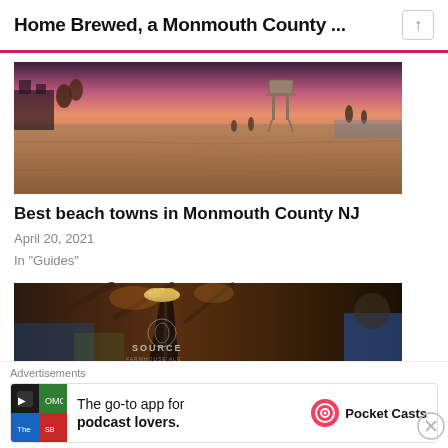Home Brewed, a Monmouth County ...
[Figure (photo): Beach scene at sunset/dusk with pink sky, sandy beach, lifeguard stand, and people walking]
Best beach towns in Monmouth County NJ
April 20, 2021
In "Guides"
[Figure (photo): Dark pint glass of beer with SOURCE brewery logo in a rustic barn-like setting]
Advertisements
The go-to app for podcast lovers.  Pocket Casts